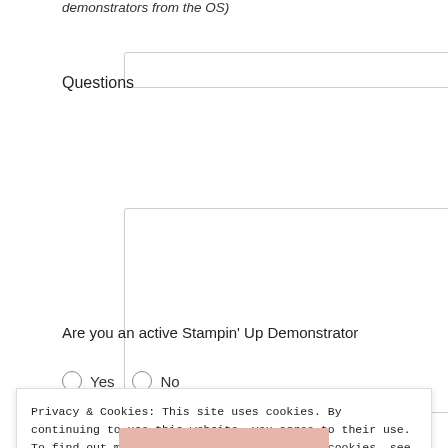demonstrators from the US)
Questions
Are you an active Stampin' Up Demonstrator
Yes   No
Privacy & Cookies: This site uses cookies. By continuing to use this website, you agree to their use.
To find out more, including how to control cookies, see here: Cookie Policy
Close and accept